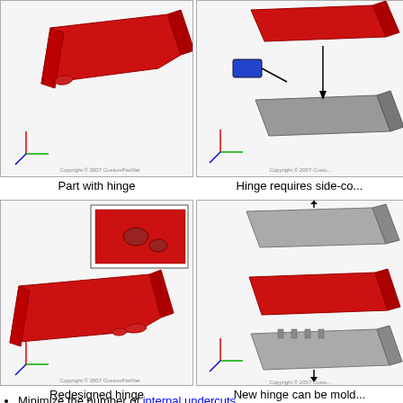[Figure (illustration): 3D rendering of a red flat part with a hinge on one side]
Part with hinge
[Figure (illustration): Exploded 3D view showing hinge requiring side-core (blue element) with mold pieces]
Hinge requires side-co...
[Figure (illustration): 3D rendering of a redesigned red part with new hinge geometry, with inset closeup]
Redesigned hinge
[Figure (illustration): Exploded 3D view showing new hinge can be molded with top and bottom mold halves (gray and red)]
New hinge can be mold...
Minimize the number of internal undercuts
Internal undercuts often require internal core lifters which add to the tooling cost
Designing an opening in the side of a part can allow a side-core to form an internal undercut
[Figure (illustration): 3D diagram showing a side-core mechanism with annotation arrows, blue ribbed part]